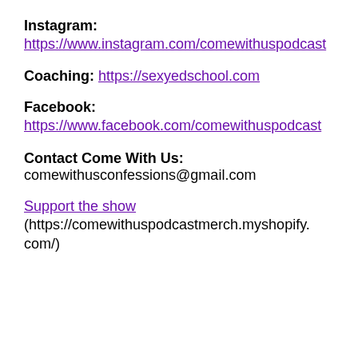Instagram: https://www.instagram.com/comewithuspodcast
Coaching: https://sexyedschool.com
Facebook: https://www.facebook.com/comewithuspodcast
Contact Come With Us: comewithusconfessions@gmail.com
Support the show (https://comewithuspodcastmerch.myshopify.com/)